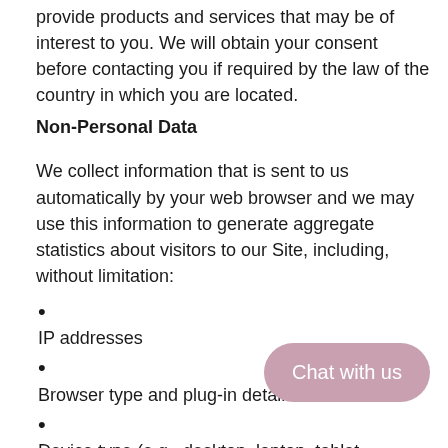provide products and services that may be of interest to you. We will obtain your consent before contacting you if required by the law of the country in which you are located.
Non-Personal Data
We collect information that is sent to us automatically by your web browser and we may use this information to generate aggregate statistics about visitors to our Site, including, without limitation:
IP addresses
Browser type and plug-in details
Device type (e.g., desktop, laptop, tablet,
Operating system